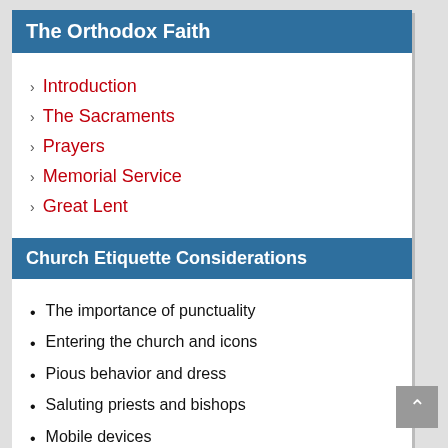The Orthodox Faith
Introduction
The Sacraments
Prayers
Memorial Service
Great Lent
Church Etiquette Considerations
The importance of punctuality
Entering the church and icons
Pious behavior and dress
Saluting priests and bishops
Mobile devices